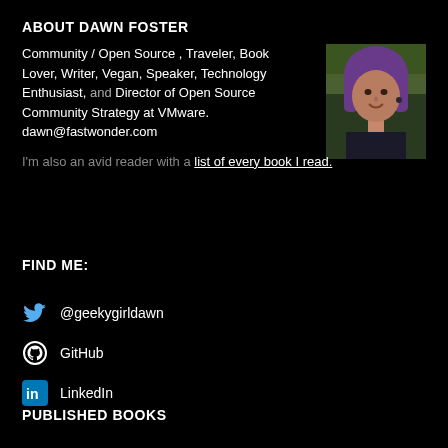ABOUT DAWN FOSTER
Community / Open Source , Traveler, Book Lover, Writer, Vegan, Speaker, Technology Enthusiast, and Director of Open Source Community Strategy at VMware. dawn@fastwonder.com
[Figure (photo): Portrait photo of Dawn Foster with purple hair, smiling, outdoors]
I'm also an avid reader with a list of every book I read.
FIND ME:
@geekygirldawn
GitHub
LinkedIn
PUBLISHED BOOKS